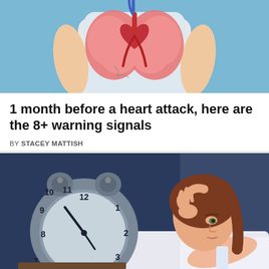[Figure (illustration): Medical illustration showing a person's torso with heart and lungs anatomy visible, rendered in cartoon/illustrated style with red heart, pink lungs, and blue blood vessels against a light blue background]
1 month before a heart attack, here are the 8+ warning signals
BY STACEY MATTISH
[Figure (illustration): Cartoon illustration of a woman lying in bed looking distressed, with a large analog alarm clock in the foreground showing approximately 11:55, against a dark blue background suggesting nighttime insomnia]